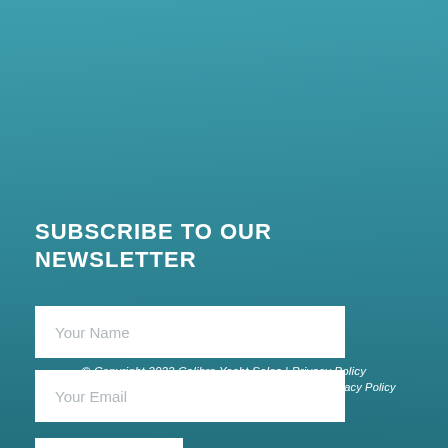SUBSCRIBE TO OUR NEWSLETTER
[Figure (illustration): Input field placeholder: Your Name]
[Figure (illustration): Input field placeholder: Your Email]
[Figure (illustration): Subscribe button with bold uppercase text SUBSCRIBE]
[Figure (logo): British Columbia Yacht Brokers Association logo with sailing figure icon and association name in dark navy text]
© Copyright 2022 Calibre Yacht Sales | Privacy Policy
This site is protected by reCAPTCHA and the Google Privacy Policy and Terms of Service apply